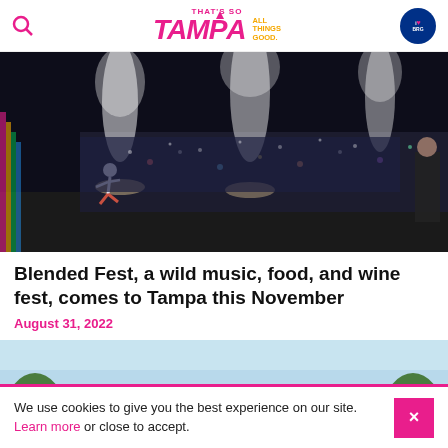That's So Tampa — All Things Good. iLoveBurg
[Figure (photo): Concert photo showing a performer on stage leaping with pyrotechnic smoke columns and a large outdoor crowd at night]
Blended Fest, a wild music, food, and wine fest, comes to Tampa this November
August 31, 2022
[Figure (photo): Outdoor event venue photo showing trees against a blue sky]
We use cookies to give you the best experience on our site. Learn more or close to accept.